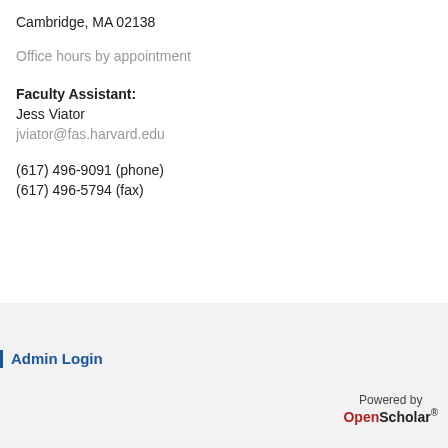Cambridge, MA 02138
Office hours by appointment
Faculty Assistant:
Jess Viator
jviator@fas.harvard.edu
(617) 496-9091 (phone)
(617) 496-5794 (fax)
Admin Login
Powered by OpenScholar ®